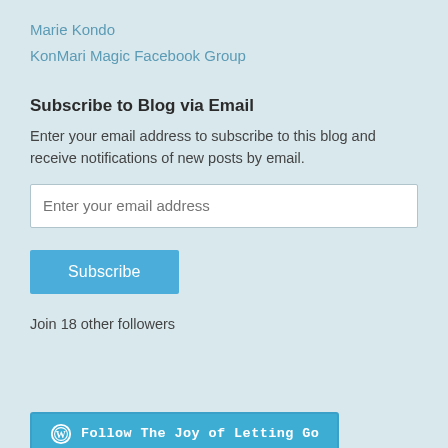Marie Kondo
KonMari Magic Facebook Group
Subscribe to Blog via Email
Enter your email address to subscribe to this blog and receive notifications of new posts by email.
Join 18 other followers
[Figure (other): Follow The Joy of Letting Go button with WordPress icon]